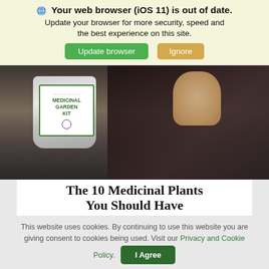Your web browser (iOS 11) is out of date. Update your browser for more security, speed and the best experience on this site.
Update browser   Ignore
[Figure (photo): Person holding a silver mylar bag labeled 'Medicinal Garden Kit' in a kitchen setting]
The 10 Medicinal Plants You Should Have In Your Backyard >>>Watch Video
This website uses cookies. By continuing to use this website you are giving consent to cookies being used. Visit our Privacy and Cookie Policy.
I Agree